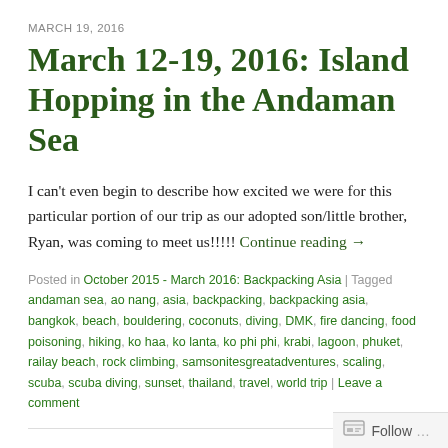MARCH 19, 2016
March 12-19, 2016: Island Hopping in the Andaman Sea
I can't even begin to describe how excited we were for this particular portion of our trip as our adopted son/little brother, Ryan, was coming to meet us!!!!! Continue reading →
Posted in October 2015 - March 2016: Backpacking Asia | Tagged andaman sea, ao nang, asia, backpacking, backpacking asia, bangkok, beach, bouldering, coconuts, diving, DMK, fire dancing, food poisoning, hiking, ko haa, ko lanta, ko phi phi, krabi, lagoon, phuket, railay beach, rock climbing, samsonitesgreatadventures, scaling, scuba, scuba diving, sunset, thailand, travel, world trip | Leave a comment
MARCH 11, 2016